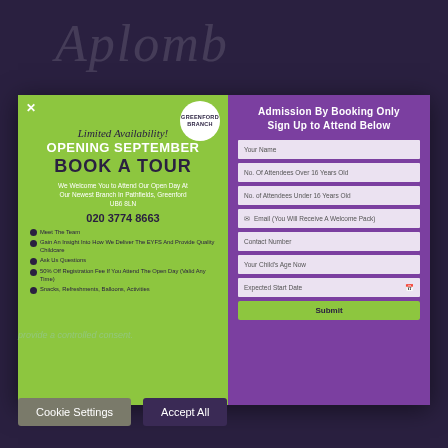[Figure (screenshot): Aplomb nursery website modal popup with booking form. Left green panel shows 'Limited Availability! OPENING SEPTEMBER BOOK A TOUR' with Greenford Branch badge, welcome text, phone number 020 3774 8663, and bullet list of features. Right purple panel shows booking form titled 'Admission By Booking Only Sign Up to Attend Below' with fields for name, attendees, email, contact number, child's age, expected start date, and submit button.]
provide a controlled consent.
Cookie Settings
Accept All